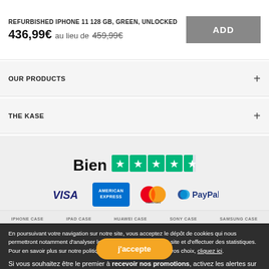REFURBISHED IPHONE 11 128 GB, GREEN, UNLOCKED
436,99€ au lieu de 459,99€
OUR PRODUCTS
THE KASE
[Figure (other): Trustpilot rating: Bien with 4 out of 5 stars]
[Figure (other): Payment logos: VISA, American Express, Mastercard, PayPal]
IPHONE CASE   IPAD CASE   HUAWEI CASE   SONY CASE   SAMSUNG CASE
En poursuivant votre navigation sur notre site, vous acceptez le dépôt de cookies qui nous permettront notamment d'analyser le trafic et la performance du site et d'effectuer des statistiques. Pour en savoir plus sur notre politique de cookies et paramétrer vos choix, cliquez ici.
Si vous souhaitez être le premier à recevoir nos promotions, activez les alertes sur votre navigateur puis sur Oui puis sur Autoriser
j'accepte